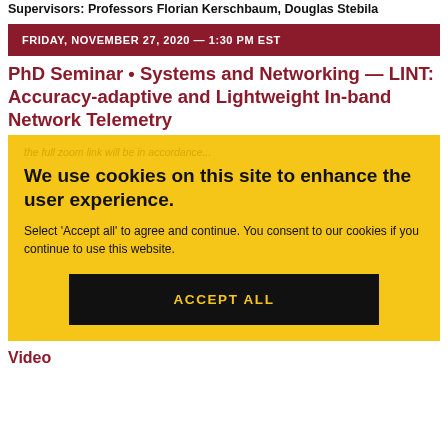Supervisors: Professors Florian Kerschbaum, Douglas Stebila
FRIDAY, NOVEMBER 27, 2020 — 1:30 PM EST
PhD Seminar • Systems and Networking — LINT: Accuracy-adaptive and Lightweight In-band Network Telemetry
We use cookies on this site to enhance the user experience.
Select 'Accept all' to agree and continue. You consent to our cookies if you continue to use this website.
ACCEPT ALL
Video